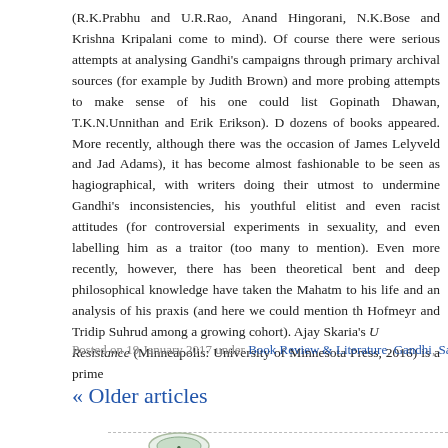(R.K.Prabhu and U.R.Rao, Anand Hingorani, N.K.Bose and Krishna Kripalani come to mind). Of course there were serious attempts at analysing Gandhi's campaigns through primary archival sources (for example by Judith Brown) and more probing attempts to make sense of his one could list Gopinath Dhawan, T.K.N.Unnithan and Erik Erikson). D dozens of books appeared. More recently, although there was the occasion of James Lelyveld and Jad Adams), it has become almost fashionable to be seen as hagiographical, with writers doing their utmost to undermine Gandhi's inconsistencies, his youthful elitist and even racist attitudes (for controversial experiments in sexuality, and even labelling him as a traitor (too many to mention). Even more recently, however, there has been theoretical bent and deep philosophical knowledge have taken the Mahatm to his life and an analysis of his praxis (and here we could mention th Hofmeyr and Tridip Suhrud among a growing cohort). Ajay Skaria's U Resistance (Minneapolis: University of Minnesota Press, 2016) is a prime
Read the rest of this article »
Posted on 19 January 2017 under Book Review & Literature, Gandhi, Saty
« Older articles
[Figure (logo): Small circular logo/icon at bottom left]
"When planted in the garden, th